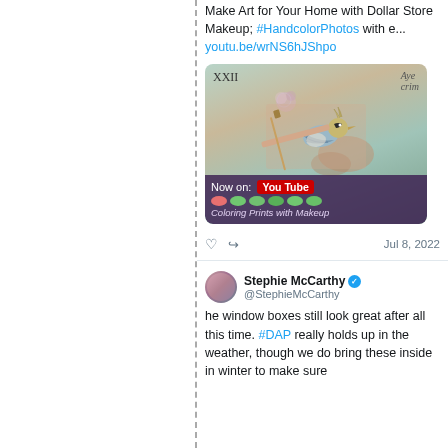Make Art for Your Home with Dollar Store Makeup; #HandcolorPhotos with e... youtu.be/wrNS6hJShpo
[Figure (photo): YouTube thumbnail showing a hand painting a bird illustration with a thin brush. The card features a detailed bird (resembling a sparrow or finch) with flowers. Bottom overlay reads 'Now on: YouTube — Coloring Prints with Makeup' with colored dot swatches.]
♡  ↪  Jul 8, 2022
Stephie McCarthy @StephieMcCarthy
he window boxes still look great after all this time. #DAP really holds up in the weather, though we do bring these inside in winter to make sure